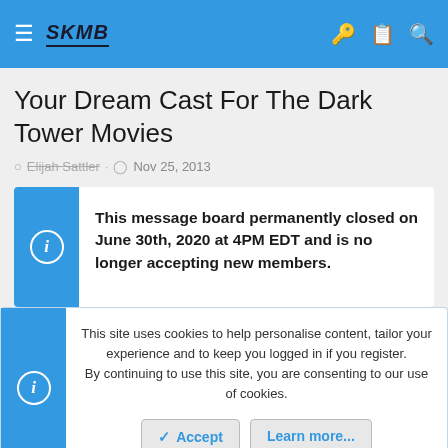SKMB navigation bar with hamburger menu, logo, key icon, clipboard icon, and search icon
Your Dream Cast For The Dark Tower Movies
Elijah Sattler · Nov 25, 2013
This message board permanently closed on June 30th, 2020 at 4PM EDT and is no longer accepting new members.
This site uses cookies to help personalise content, tailor your experience and to keep you logged in if you register. By continuing to use this site, you are consenting to our use of cookies.